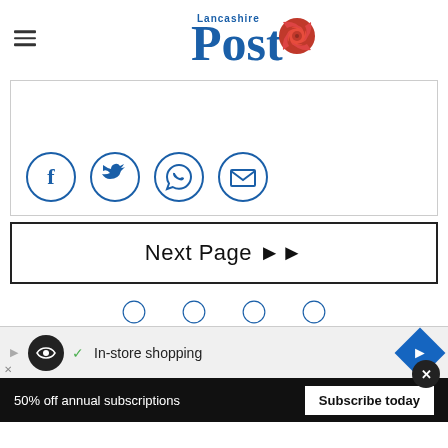Lancashire Post
[Figure (other): Social share box with Facebook, Twitter, WhatsApp, and Email circular icon buttons]
Next Page ▶▶
[Figure (other): Partial row of circular social media share icons at bottom]
[Figure (other): Advertisement banner: In-store shopping]
50% off annual subscriptions
Subscribe today